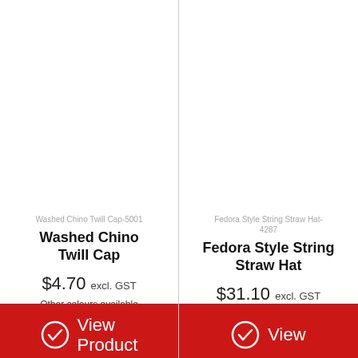[Figure (photo): Product image area for Washed Chino Twill Cap (empty/white)]
Washed Chino Twill Cap-5001
Washed Chino Twill Cap
$4.70 excl. GST
Other colours available
View Product
[Figure (photo): Product image area for Fedora Style String Straw Hat (empty/white)]
Fedora Style String Straw Hat-4287
Fedora Style String Straw Hat
$31.10 excl. GST
Other colours available
View